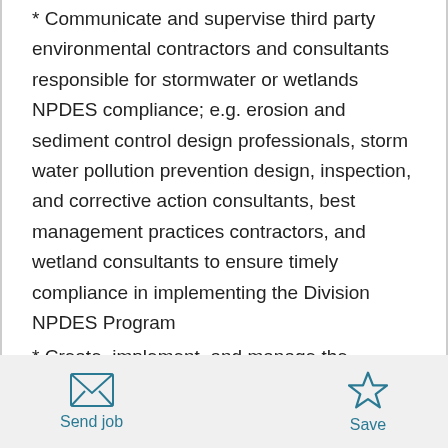* Communicate and supervise third party environmental contractors and consultants responsible for stormwater or wetlands NPDES compliance; e.g. erosion and sediment control design professionals, storm water pollution prevention design, inspection, and corrective action consultants, best management practices contractors, and wetland consultants to ensure timely compliance in implementing the Division NPDES Program
* Create, implement, and manage the Division Safety Program, including ensuring OSHA compliance, oversight of the Corporate Safety Program and division safety and health requirements
Send job | Save